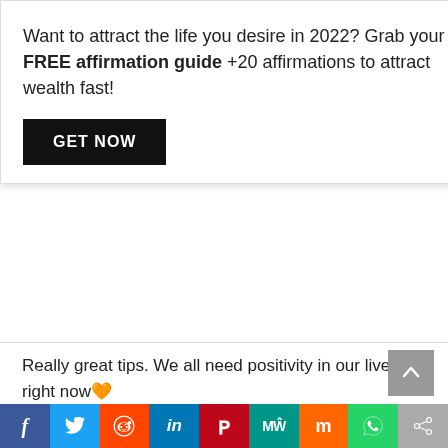Want to attract the life you desire in 2022? Grab your FREE affirmation guide +20 affirmations to attract wealth fast!
GET NOW
Really great tips. We all need positivity in our lives right now❤️
↩ REPLY
nianni
August 12, 2020 at 10:55 am
Yes we do💯
↩ REPLY